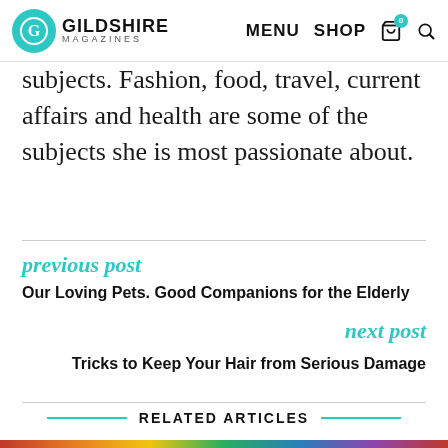GILDSHIRE MAGAZINES | MENU SHOP
subjects. Fashion, food, travel, current affairs and health are some of the subjects she is most passionate about.
previous post
Our Loving Pets. Good Companions for the Elderly
next post
Tricks to Keep Your Hair from Serious Damage
RELATED ARTICLES